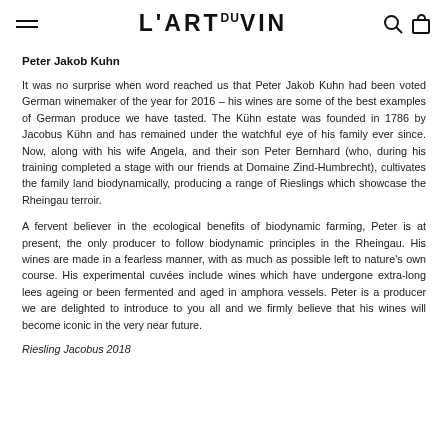L'ART DU VIN
Peter Jakob Kuhn
It was no surprise when word reached us that Peter Jakob Kuhn had been voted German winemaker of the year for 2016 – his wines are some of the best examples of German produce we have tasted. The Kühn estate was founded in 1786 by Jacobus Kühn and has remained under the watchful eye of his family ever since. Now, along with his wife Angela, and their son Peter Bernhard (who, during his training completed a stage with our friends at Domaine Zind-Humbrecht), cultivates the family land biodynamically, producing a range of Rieslings which showcase the Rheingau terroir.
A fervent believer in the ecological benefits of biodynamic farming, Peter is at present, the only producer to follow biodynamic principles in the Rheingau. His wines are made in a fearless manner, with as much as possible left to nature's own course. His experimental cuvées include wines which have undergone extra-long lees ageing or been fermented and aged in amphora vessels. Peter is a producer we are delighted to introduce to you all and we firmly believe that his wines will become iconic in the very near future.
Riesling Jacobus 2018